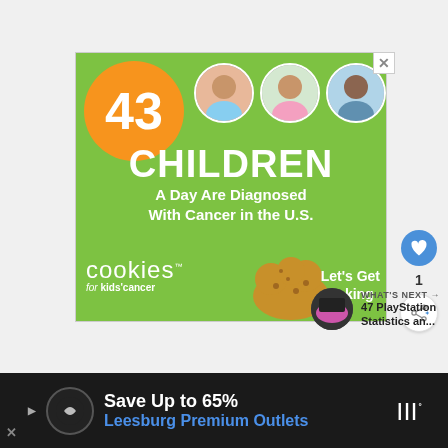[Figure (infographic): Cookies for Kids Cancer advertisement. Green background. Orange circle with '43'. Three circular photos of children. Large text: '43 CHILDREN A Day Are Diagnosed With Cancer in the U.S.' Cookies for Kids Cancer logo. Cookie image. 'Let's Get Baking' text.]
[Figure (screenshot): Interactive UI buttons on right side: blue heart/like button, count of 1, share button]
[Figure (screenshot): What's Next widget: thumbnail image on left, text 'WHAT'S NEXT → 47 PlayStation Statistics an...']
[Figure (infographic): Bottom advertisement bar (dark background): 'Save Up to 65% Leesburg Premium Outlets' with logo icons and navigation arrow]